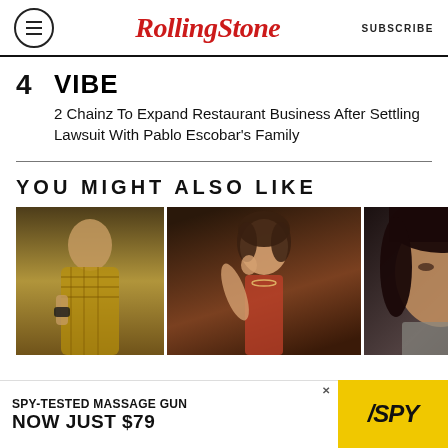Rolling Stone | SUBSCRIBE
4 VIBE — 2 Chainz To Expand Restaurant Business After Settling Lawsuit With Pablo Escobar's Family
YOU MIGHT ALSO LIKE
[Figure (photo): Three photo thumbnails of women, side by side, for 'You Might Also Like' section]
[Figure (infographic): Advertisement banner: SPY-TESTED MASSAGE GUN NOW JUST $79 with SPY logo on yellow background]